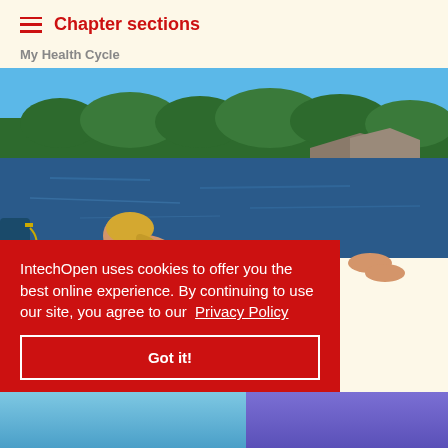Chapter sections
My Health Cycle
[Figure (photo): Middle-aged blonde woman in a floral bikini sitting on a dock by a calm lake, looking down, with green forested hills in the background.]
After 60
IntechOpen uses cookies to offer you the best online experience. By continuing to use our site, you agree to our Privacy Policy
Got it!